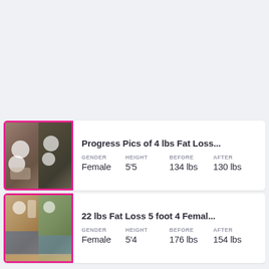[Figure (photo): Before and after photo of female showing 4 lbs fat loss, side by side mirror selfies, pink border]
Progress Pics of 4 lbs Fat Loss...
| GENDER | HEIGHT | BEFORE | AFTER |
| --- | --- | --- | --- |
| Female | 5'5 | 134 lbs | 130 lbs |
[Figure (photo): Before and after photo of female showing 22 lbs fat loss, side by side mirror selfies, pink border]
22 lbs Fat Loss 5 foot 4 Femal...
| GENDER | HEIGHT | BEFORE | AFTER |
| --- | --- | --- | --- |
| Female | 5'4 | 176 lbs | 154 lbs |